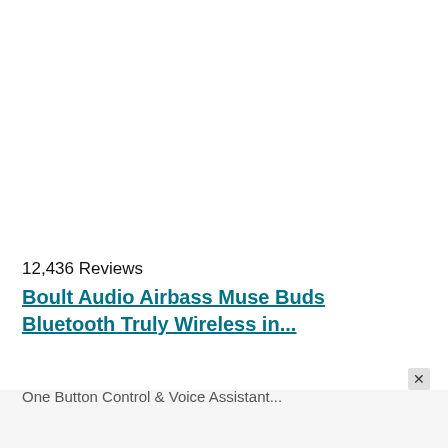12,436 Reviews
Boult Audio Airbass Muse Buds Bluetooth Truly Wireless in...
One Button Control & Voice Assistant...